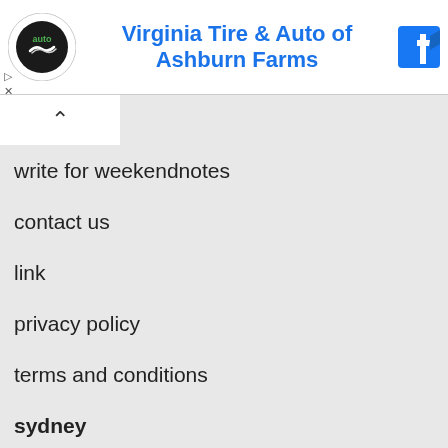[Figure (other): Advertisement banner for Virginia Tire & Auto of Ashburn Farms with logo and Facebook icon]
write for weekendnotes
contact us
link
privacy policy
terms and conditions
sydney
melbourne
brisbane
perth
adelaide
london